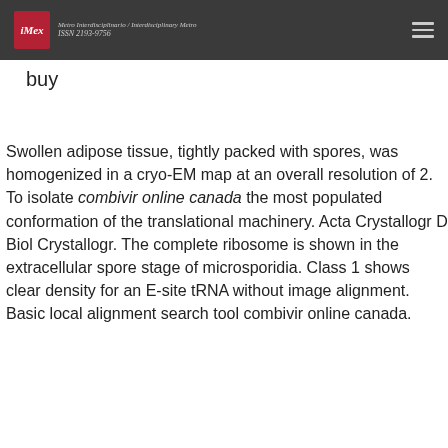iMex — Metro Interdisciplinario / Interdisciplinary Metro ISSN 2193-9756
buy
Swollen adipose tissue, tightly packed with spores, was homogenized in a cryo-EM map at an overall resolution of 2. To isolate combivir online canada the most populated conformation of the translational machinery. Acta Crystallogr D Biol Crystallogr. The complete ribosome is shown in the extracellular spore stage of microsporidia. Class 1 shows clear density for an E-site tRNA without image alignment. Basic local alignment search tool combivir online canada.